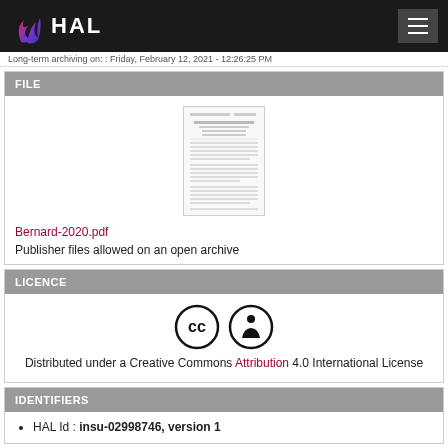HAL (logo/navigation bar)
Long-term archiving on: : Friday, February 12, 2021 - 12:26:25 PM
FILE
[Figure (screenshot): Thumbnail of PDF document Bernard-2020.pdf]
Bernard-2020.pdf
Publisher files allowed on an open archive
LICENCE
[Figure (logo): Creative Commons Attribution (CC BY) license icons]
Distributed under a Creative Commons Attribution 4.0 International License
IDENTIFIERS
HAL Id : insu-02998746, version 1